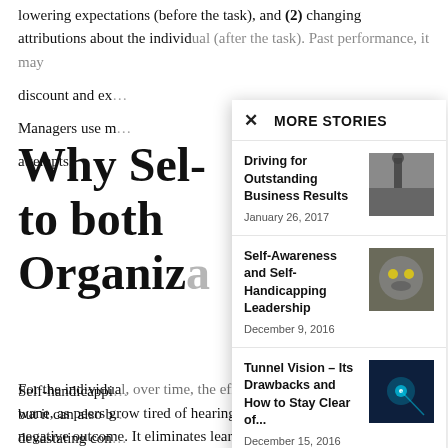lowering expectations (before the task), and (2) changing attributions about the individual (after the task). Past performance, it may discount and ex... Managers use m... attempts.
Why Sel... to both Organiza...
Self-handicappi... but it can also b... devastating con...
[Figure (screenshot): MORE STORIES modal overlay with three story items: 1) Driving for Outstanding Business Results, January 26, 2017; 2) Self-Awareness and Self-Handicapping Leadership, December 9, 2016; 3) Tunnel Vision – Its Drawbacks and How to Stay Clear of..., December 15, 2016]
For the individual, over time, the effectiveness of these tactics may wane, as peers grow tired of hearing the same reasons for a negative outcome. It eliminates learning and growth. Self-